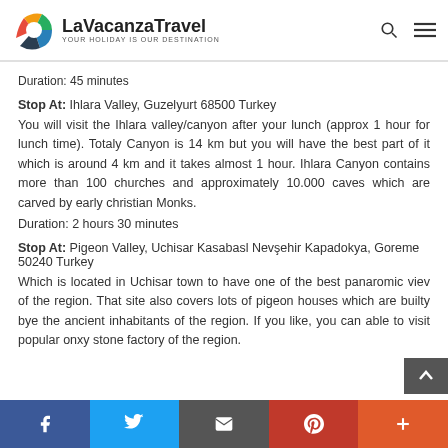LaVacanzaTravel — YOUR HOLIDAY IS OUR DESTINATION
Duration: 45 minutes
Stop At: Ihlara Valley, Guzelyurt 68500 Turkey
You will visit the Ihlara valley/canyon after your lunch (approx 1 hour for lunch time). Totaly Canyon is 14 km but you will have the best part of it which is around 4 km and it takes almost 1 hour. Ihlara Canyon contains more than 100 churches and approximately 10.000 caves which are carved by early christian Monks.
Duration: 2 hours 30 minutes
Stop At: Pigeon Valley, Uchisar Kasabasl Nevşehir Kapadokya, Goreme 50240 Turkey
Which is located in Uchisar town to have one of the best panaromic viev of the region. That site also covers lots of pigeon houses which are builty bye the ancient inhabitants of the region. If you like, you can able to visit popular onxy stone factory of the region.
f | Twitter | Email | Pinterest | +